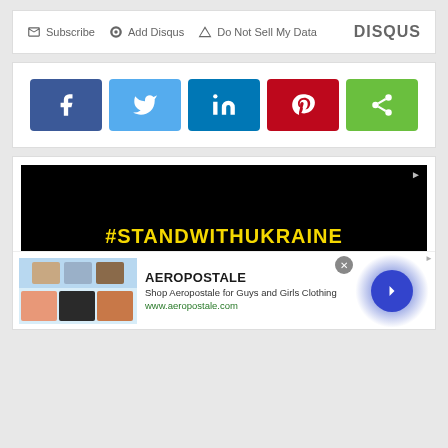Subscribe  Add Disqus  Do Not Sell My Data  DISQUS
[Figure (infographic): Social share buttons: Facebook (blue), Twitter (light blue), LinkedIn (dark blue), Pinterest (red), Share (green)]
[Figure (infographic): #STANDWITHUKRAINE advertisement banner with yellow text on black background and blue Ukraine map shape]
[Figure (infographic): Aeropostale advertisement: Shop Aeropostale for Guys and Girls Clothing, www.aeropostale.com]